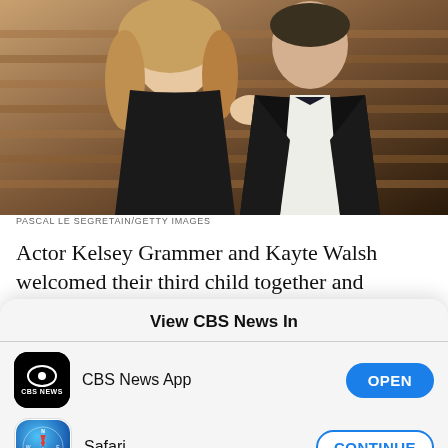[Figure (photo): Photo of a blonde woman in a black one-shoulder dress and a man in a dark tuxedo with black bow tie, standing together at an event. Background shows warm wood-toned panels.]
PASCAL LE SEGRETAIN/GETTY IMAGES
Actor Kelsey Grammer and Kayte Walsh welcomed their third child together and Grammer's seventh. The 61-year-old actor...
View CBS News In
[Figure (logo): CBS News App icon - black square with rounded corners, CBS eye logo in white, 'CBS NEWS' text below]
CBS News App
OPEN
[Figure (logo): Safari browser icon - circular compass on blue gradient background]
Safari
CONTINUE